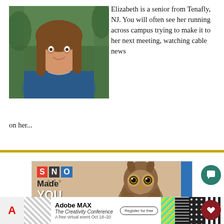[Figure (photo): Portrait photo of a young woman with long brown hair, wearing a blue top with a necklace, smiling, outdoors with green background]
Elizabeth is a senior from Tenafly, NJ. You will often see her running across campus trying to make it to her next meeting, watching cable news on her...
[Figure (advertisement): SNO ads advertisement featuring an owl with text 'Made YOU LOOK!' on a tan/beige background with SNO logo and blue side bar]
[Figure (advertisement): Adobe MAX - The Creativity Conference advertisement. A free virtual event Oct 18-20. Register for free button. Colorful pattern designs on right side.]